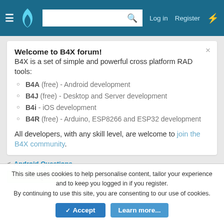B4X Forum — Log in | Register
Welcome to B4X forum!
B4X is a set of simple and powerful cross platform RAD tools:
B4A (free) - Android development
B4J (free) - Desktop and Server development
B4i - iOS development
B4R (free) - Arduino, ESP8266 and ESP32 development
All developers, with any skill level, are welcome to join the B4X community.
< Android Questions
Android Question   Fatal Exception:
This site uses cookies to help personalise content, tailor your experience and to keep you logged in if you register.
By continuing to use this site, you are consenting to our use of cookies.